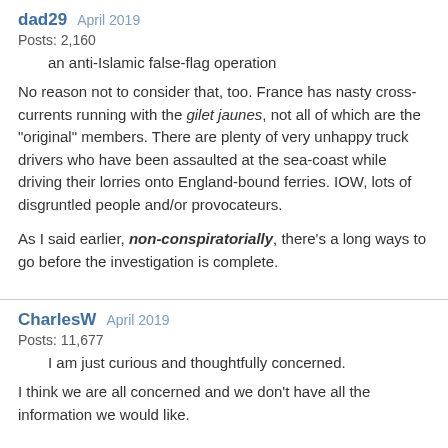dad29  April 2019
Posts: 2,160
an anti-Islamic false-flag operation
No reason not to consider that, too. France has nasty cross-currents running with the gilet jaunes, not all of which are the "original" members. There are plenty of very unhappy truck drivers who have been assaulted at the sea-coast while driving their lorries onto England-bound ferries. IOW, lots of disgruntled people and/or provocateurs.
As I said earlier, non-conspiratorially, there's a long ways to go before the investigation is complete.
CharlesW  April 2019
Posts: 11,677
I am just curious and thoughtfully concerned.
I think we are all concerned and we don't have all the information we would like.